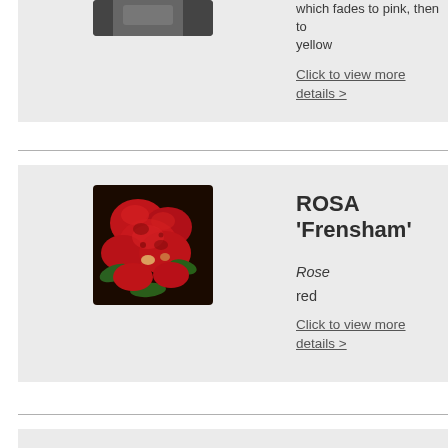[Figure (photo): Partial view of a plant/flower photo at the top of the page (cropped, showing the upper portion)]
which fades to pink, then to yellow
Click to view more details >
ROSA 'Frensham'
[Figure (photo): Photo of red roses (Rosa Frensham), showing clusters of deep red blooms with green leaves]
Rose
red
Click to view more details >